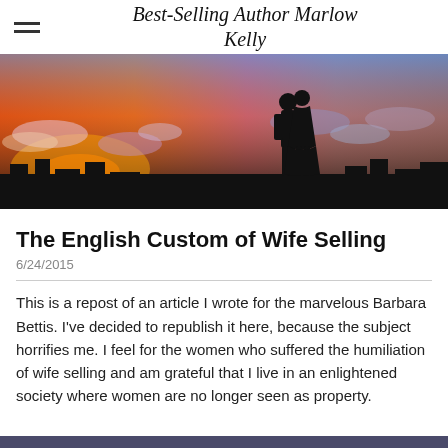Best-Selling Author Marlow Kelly
[Figure (photo): A romantic silhouette of a couple facing each other against a vivid sunset sky with orange, purple and blue clouds over a dark cityscape horizon.]
The English Custom of Wife Selling
6/24/2015
This is a repost of an article I wrote for the marvelous Barbara Bettis. I've decided to republish it here, because the subject horrifies me. I feel for the women who suffered the humiliation of wife selling and am grateful that I live in an enlightened society where women are no longer seen as property.